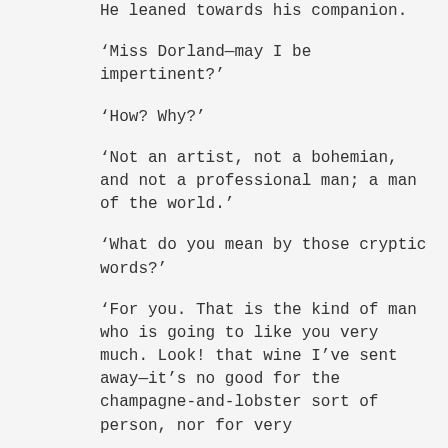He leaned towards his companion.
‘Miss Dorland—may I be impertinent?’
‘How? Why?’
‘Not an artist, not a bohemian, and not a professional man; a man of the world.’
‘What do you mean by those cryptic words?’
‘For you. That is the kind of man who is going to like you very much. Look! that wine I’ve sent away—it’s no good for the champagne-and-lobster sort of person, nor for very